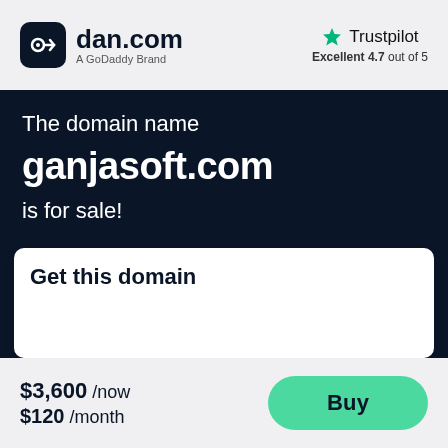[Figure (logo): dan.com logo with dark rounded square icon and text 'dan.com' with subtitle 'A GoDaddy Brand']
[Figure (logo): Trustpilot logo with green star and text 'Trustpilot', subtitle 'Excellent 4.7 out of 5']
The domain name
ganjasoft.com
is for sale!
Get this domain
$3,600 /now
$120 /month
Buy